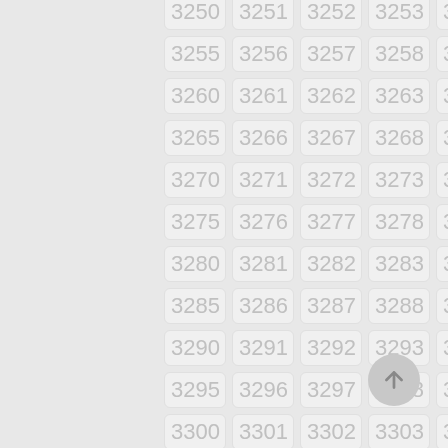[Figure (other): Grid of numbered cells from 3250 to 3304, arranged in 5 columns and 12 rows, with light gray rounded rectangle cells on a gray background. Numbers displayed in light gray sans-serif font. A circular back-to-top button (FAB) with an upward arrow is visible in the lower right.]